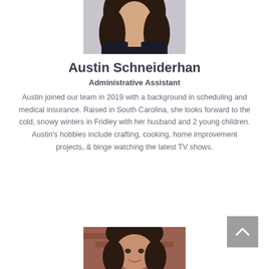[Figure (photo): Portrait photo of Austin Schneiderhan, a woman with long dark wavy hair, wearing a dark top, photographed against a light background. Only the upper portion of the photo is visible.]
Austin Schneiderhan
Administrative Assistant
Austin joined our team in 2019 with a background in scheduling and medical insurance. Raised in South Carolina, she looks forward to the cold, snowy winters in Fridley with her husband and 2 young children. Austin's hobbies include crafting, cooking, home improvement projects, & binge watching the latest TV shows.
[Figure (photo): Portrait photo of another person, a woman with dark hair, smiling, photographed against a brick wall background. Only the upper portion of the photo is visible at the bottom of the page.]